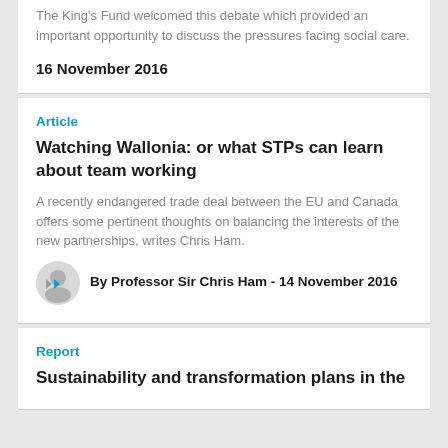The King's Fund welcomed this debate which provided an important opportunity to discuss the pressures facing social care.
16 November 2016
Article
Watching Wallonia: or what STPs can learn about team working
A recently endangered trade deal between the EU and Canada offers some pertinent thoughts on balancing the interests of the new partnerships, writes Chris Ham.
By Professor Sir Chris Ham - 14 November 2016
Report
Sustainability and transformation plans in the